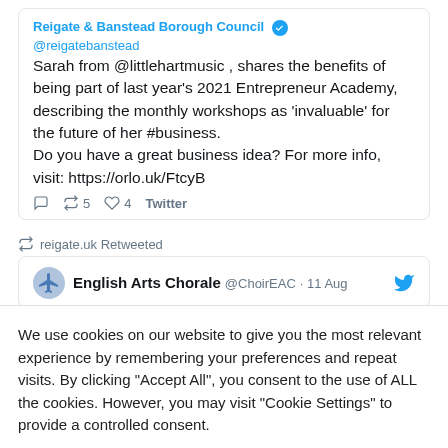Reigate & Banstead Borough Council @reigatebanstead
Sarah from @littlehartmusic , shares the benefits of being part of last year's 2021 Entrepreneur Academy, describing the monthly workshops as 'invaluable' for the future of her #business.
Do you have a great business idea? For more info, visit: https://orlo.uk/FtcyB
reply retweet 5 like 4 Twitter
reigate.uk Retweeted
English Arts Chorale @ChoirEAC · 11 Aug
We use cookies on our website to give you the most relevant experience by remembering your preferences and repeat visits. By clicking "Accept All", you consent to the use of ALL the cookies. However, you may visit "Cookie Settings" to provide a controlled consent.